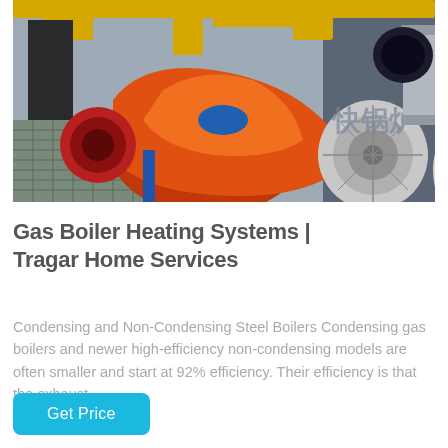[Figure (photo): Industrial gas boiler heating system with orange burner assembly, yellow pipes, and Chinese characters visible on blue wall in background.]
Gas Boiler Heating Systems | Tragar Home Services
Condensing and Non-Condensing Steel Boilers Condensing gas boilers and newer high-efficiency non-condensing models are often smaller and start at 92% efficiency. Their efficiency is that the exhaust...
Get Price